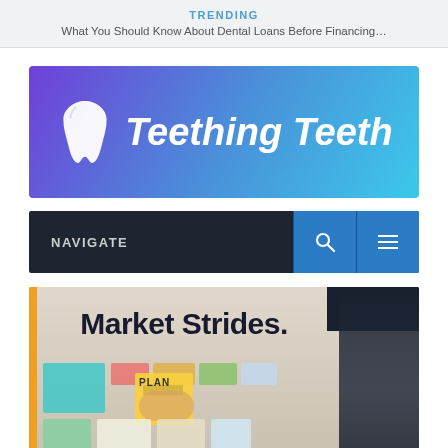TRENDING
What You Should Know About Dental Loans Before Financing…
[Figure (logo): Teething Teeth logo banner with tooth icon on purple-to-cyan gradient background]
NAVIGATE
[Figure (screenshot): Article thumbnail image showing a planning board with sticky notes and the text 'Market Strides.']